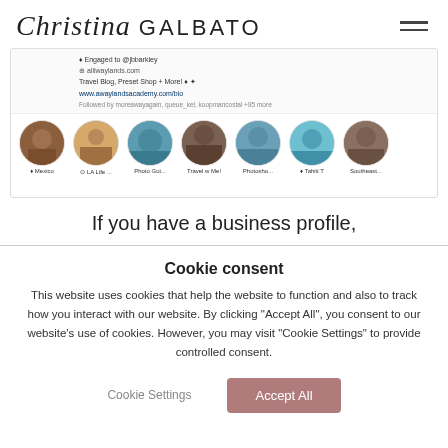Christina GALBATO
[Figure (screenshot): Instagram profile screenshot showing bio info and story highlight circles labeled Mexico, LA Life..., Photo Gui..., Travel w Me!, Photosho..., Tahiti, Southeast...]
If you have a business profile,
Cookie consent
This website uses cookies that help the website to function and also to track how you interact with our website. By clicking "Accept All", you consent to our website's use of cookies. However, you may visit "Cookie Settings" to provide controlled consent.
Cookie Settings
Accept All